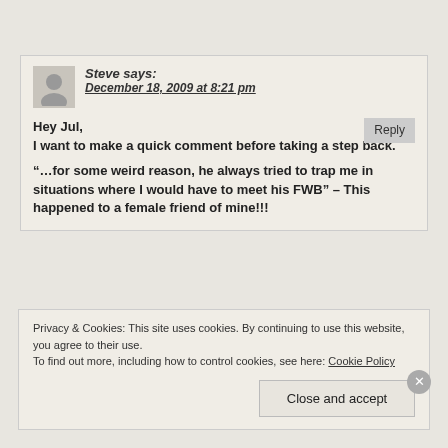Steve says: December 18, 2009 at 8:21 pm
Hey Jul,
I want to make a quick comment before taking a step back.

“…for some weird reason, he always tried to trap me in situations where I would have to meet his FWB” – This happened to a female friend of mine!!!
Privacy & Cookies: This site uses cookies. By continuing to use this website, you agree to their use.
To find out more, including how to control cookies, see here: Cookie Policy
Close and accept